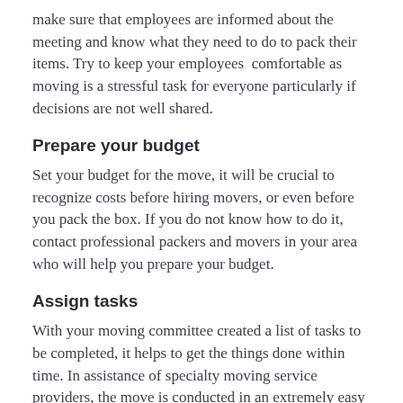make sure that employees are informed about the meeting and know what they need to do to pack their items. Try to keep your employees comfortable as moving is a stressful task for everyone particularly if decisions are not well shared.
Prepare your budget
Set your budget for the move, it will be crucial to recognize costs before hiring movers, or even before you pack the box. If you do not know how to do it, contact professional packers and movers in your area who will help you prepare your budget.
Assign tasks
With your moving committee created a list of tasks to be completed, it helps to get the things done within time. In assistance of specialty moving service providers, the move is conducted in an extremely easy way that you have not to be worried about anything whether it is packing, loading,